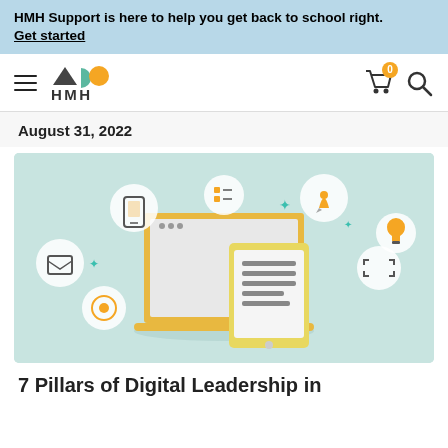HMH Support is here to help you get back to school right. Get started
[Figure (logo): HMH logo with hamburger menu, cart icon with badge 0, and search icon]
August 31, 2022
[Figure (illustration): Digital education illustration showing a laptop and tablet with various icons (mobile, checklist, rocket, lightbulb, folder, cursor, expand) on a light teal background]
7 Pillars of Digital Leadership in